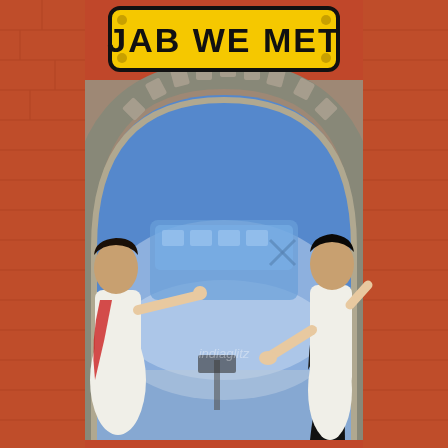[Figure (illustration): Movie poster for 'Jab We Met' (2007 Bollywood film). At the top is a yellow road sign with black bold text reading 'JAB WE MET'. Below is a stone arch/tunnel with gear-tooth edges set against a terracotta/orange-red brick wall. Through the arch is a blue-tinted scene showing a blurry train. On the left side of the arch stands a young woman in a white salwar kameez with a red dupatta, pointing her finger toward the center. On the right side kneels a young man in a white shirt and black scarf/shawl, gesturing with open hands. A watermark reading 'indiaglitz' is visible in the lower-center area. The overall color palette is warm orange-red for the background with cool blue for the interior arch scene.]